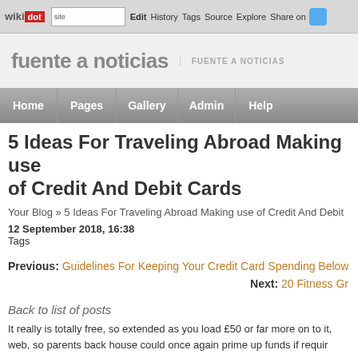[Figure (screenshot): Wikidot browser top navigation bar with logo, URL bar, Edit, History, Tags, Source, Explore, Share on Twitter tabs]
fuente a noticias
FUENTE A NOTICIAS
Home | Pages | Gallery | Admin | Help
5 Ideas For Traveling Abroad Making use of Credit And Debit Cards
Your Blog » 5 Ideas For Traveling Abroad Making use of Credit And Debit
12 September 2018, 16:38
Tags
Previous: Guidelines For Keeping Your Credit Card Spending Below
Next: 20 Fitness Gr
Back to list of posts
It really is totally free, so extended as you load £50 or far more on to it, web, so parents back house could once again prime up funds if requir